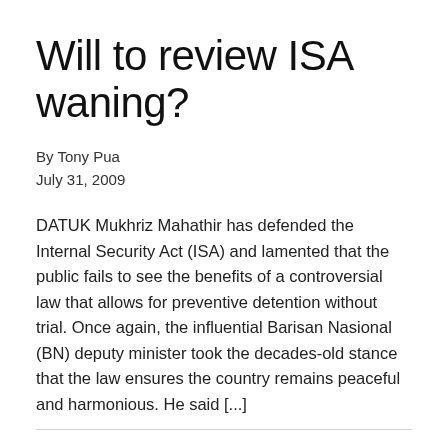Will to review ISA waning?
By Tony Pua
July 31, 2009
DATUK Mukhriz Mahathir has defended the Internal Security Act (ISA) and lamented that the public fails to see the benefits of a controversial law that allows for preventive detention without trial. Once again, the influential Barisan Nasional (BN) deputy minister took the decades-old stance that the law ensures the country remains peaceful and harmonious. He said [...]